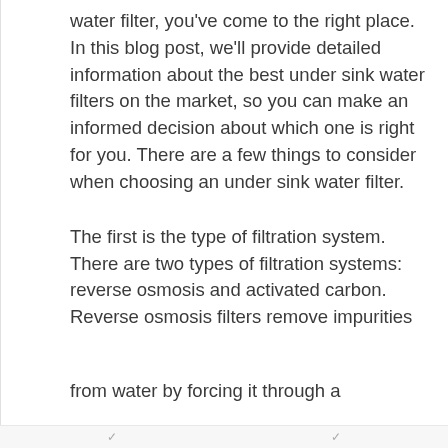water filter, you've come to the right place. In this blog post, we'll provide detailed information about the best under sink water filters on the market, so you can make an informed decision about which one is right for you. There are a few things to consider when choosing an under sink water filter.
The first is the type of filtration system. There are two types of filtration systems: reverse osmosis and activated carbon. Reverse osmosis filters remove impurities from water by forcing it through a